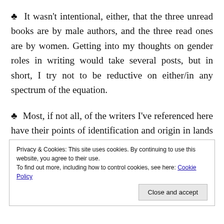♣ It wasn't intentional, either, that the three unread books are by male authors, and the three read ones are by women. Getting into my thoughts on gender roles in writing would take several posts, but in short, I try not to be reductive on either/in any spectrum of the equation.
♣ Most, if not all, of the writers I've referenced here have their points of identification and origin in lands additional to the ones I've listed. I have offered in
Privacy & Cookies: This site uses cookies. By continuing to use this website, you agree to their use.
To find out more, including how to control cookies, see here: Cookie Policy
Close and accept